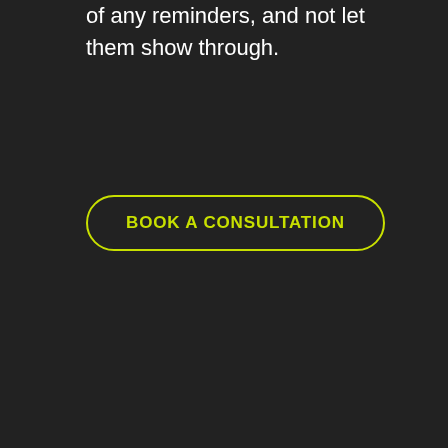of any reminders, and not let them show through.
BOOK A CONSULTATION